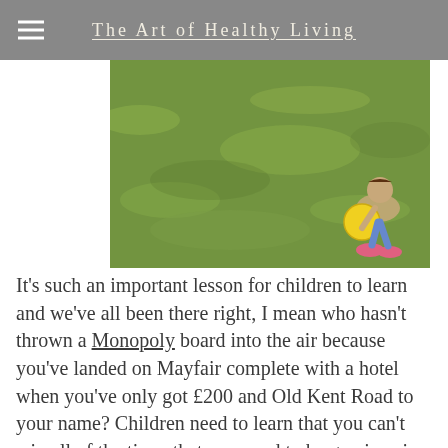The Art of Healthy Living
[Figure (photo): A child playing on green grass, bending down toward a yellow ball, wearing pink shoes. Photo taken outdoors on a sunny day.]
It's such an important lesson for children to learn and we've all been there right, I mean who hasn't thrown a Monopoly board into the air because you've landed on Mayfair complete with a hotel when you've only got £200 and Old Kent Road to your name? Children need to learn that you can't win all of the time, that you need to be gracious in defeat, and that in order to win in future you must feel driven to up